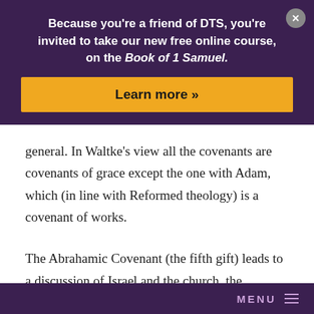Because you're a friend of DTS, you're invited to take our new free online course, on the Book of 1 Samuel.
Learn more »
general. In Waltke's view all the covenants are covenants of grace except the one with Adam, which (in line with Reformed theology) is a covenant of works.
The Abrahamic Covenant (the fifth gift) leads to a discussion of Israel and the church, the distinction between which is treated here with some ambivalence (pp. 331–32). As the work progresses, Waltke comes more
MENU